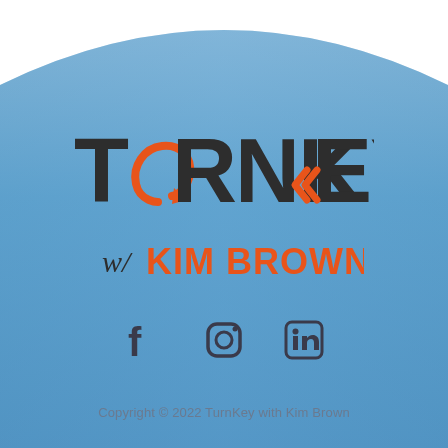[Figure (logo): TurnKey with Kim Brown logo on a blue gradient background with a curved arch shape at the top. The word TURNKEY is in large dark charcoal letters with orange accent marks replacing the U (a circular swirl arrow) and the K (double arrow chevrons). Below, 'w/ KIM BROWN' in orange and dark text. Social media icons for Facebook, Instagram, and LinkedIn are centered below the logo.]
Copyright © 2022 TurnKey with Kim Brown